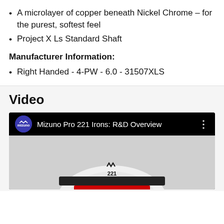A microlayer of copper beneath Nickel Chrome – for the purest, softest feel
Project X Ls Standard Shaft
Manufacturer Information:
Right Handed - 4-PW - 6.0 - 31507XLS
Video
[Figure (screenshot): YouTube-style video player showing Mizuno Pro 221 Irons: R&D Overview with Mizuno logo and iron club thumbnail]